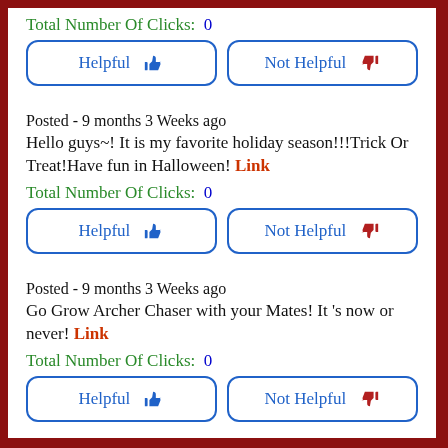Total Number Of Clicks:  0
Helpful | Not Helpful
Posted - 9 months 3 Weeks ago
Hello guys~! It is my favorite holiday season!!!Trick Or Treat!Have fun in Halloween! Link
Total Number Of Clicks:  0
Helpful | Not Helpful
Posted - 9 months 3 Weeks ago
Go Grow Archer Chaser with your Mates! It 's now or never! Link
Total Number Of Clicks:  0
Helpful | Not Helpful
Posted - 9 months 3 Weeks ago
How good are you at Drop The Number?Dare us! Maybe